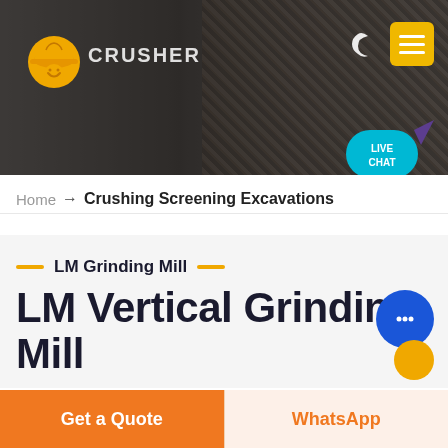[Figure (screenshot): Website header with dark hero image of mining/crushing machinery, company logo (orange hard hat icon with 'CRUSHER' text), moon icon, yellow hamburger menu button, and teal 'LIVE CHAT' speech bubble]
Home → Crushing Screening Excavations
LM Grinding Mill
LM Vertical Grinding Mill
We have successively launched vertical mill products with independent intellectual property rights. Product Features: Integration of multiple functions, more stable and reliable production and more excellent capacity.
Get a Quote
WhatsApp